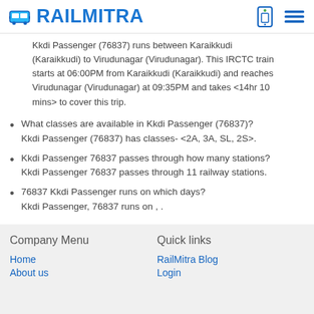RAILMITRA
Kkdi Passenger (76837) runs between Karaikkudi (Karaikkudi) to Virudunagar (Virudunagar). This IRCTC train starts at 06:00PM from Karaikkudi (Karaikkudi) and reaches Virudunagar (Virudunagar) at 09:35PM and takes <14hr 10 mins> to cover this trip.
What classes are available in Kkdi Passenger (76837)? Kkdi Passenger (76837) has classes- <2A, 3A, SL, 2S>.
Kkdi Passenger 76837 passes through how many stations? Kkdi Passenger 76837 passes through 11 railway stations.
76837 Kkdi Passenger runs on which days? Kkdi Passenger, 76837 runs on , .
Company Menu | Quick links | Home | RailMitra Blog | About us | Login